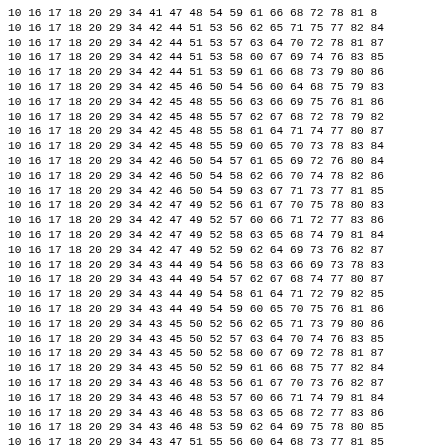10 16 17 18 20 29 34 41 47 48 54 59 61 66 68 72 78 81 8
10 16 17 18 20 29 34 42 44 51 53 56 62 65 71 75 77 82 84
10 16 17 18 20 29 34 42 44 51 53 57 63 64 70 72 78 81 87
10 16 17 18 20 29 34 42 44 51 53 58 60 67 69 74 76 83 85
10 16 17 18 20 29 34 42 44 51 53 59 61 66 68 73 79 80 86
10 16 17 18 20 29 34 42 45 46 50 54 56 60 64 68 75 79 83
10 16 17 18 20 29 34 42 45 48 55 56 63 66 69 75 76 81 86
10 16 17 18 20 29 34 42 45 48 55 57 62 67 68 72 78 79 82
10 16 17 18 20 29 34 42 45 48 55 58 61 64 71 74 77 80 87
10 16 17 18 20 29 34 42 45 48 55 59 60 65 70 73 78 83 84
10 16 17 18 20 29 34 42 46 50 54 57 61 65 69 72 76 80 84
10 16 17 18 20 29 34 42 46 50 54 58 62 66 70 74 78 82 86
10 16 17 18 20 29 34 42 46 50 54 59 63 67 71 73 77 81 85
10 16 17 18 20 29 34 42 47 49 52 56 61 67 70 75 78 80 83
10 16 17 18 20 29 34 42 47 49 52 57 60 66 71 72 77 83 86
10 16 17 18 20 29 34 42 47 49 52 58 63 65 68 74 79 81 84
10 16 17 18 20 29 34 42 47 49 52 59 62 64 69 73 76 82 87
10 16 17 18 20 29 34 43 44 49 54 56 58 63 66 69 73 78 83
10 16 17 18 20 29 34 43 44 49 54 57 62 67 68 74 77 80 87
10 16 17 18 20 29 34 43 44 49 54 58 61 64 71 72 79 82 85
10 16 17 18 20 29 34 43 44 49 54 59 60 65 70 75 76 81 86
10 16 17 18 20 29 34 43 45 50 52 56 62 65 71 73 79 80 86
10 16 17 18 20 29 34 43 45 50 52 57 63 64 70 74 76 83 85
10 16 17 18 20 29 34 43 45 50 52 58 60 67 69 72 78 81 87
10 16 17 18 20 29 34 43 45 50 52 59 61 66 68 75 77 82 84
10 16 17 18 20 29 34 43 46 48 53 56 61 67 70 73 76 82 87
10 16 17 18 20 29 34 43 46 48 53 57 60 66 71 74 79 81 84
10 16 17 18 20 29 34 43 46 48 53 58 63 65 68 72 77 83 86
10 16 17 18 20 29 34 43 46 48 53 59 62 64 69 75 78 80 85
10 16 17 18 20 29 34 43 47 51 55 56 60 64 68 73 77 81 85